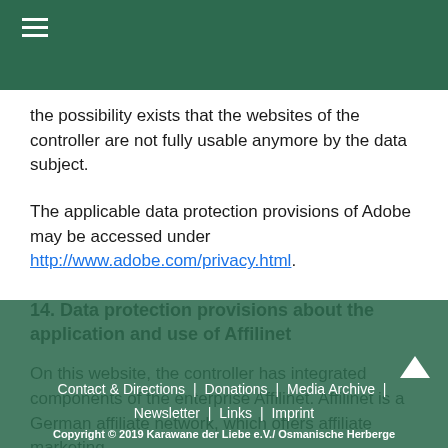Navigation menu (hamburger icon)
the possibility exists that the websites of the controller are not fully usable anymore by the data subject.
The applicable data protection provisions of Adobe may be accessed under http://www.adobe.com/privacy.html.
14. Data protection provisions about the application and use of Affilinet
On this website, the controller has integrated components of the enterprise Affilinet. Affilinet is a German affiliate network, which offers affiliate marketing.
Contact & Directions | Donations | Media Archive | Newsletter | Links | Imprint
Copyright © 2019 Karawane der Liebe e.V./ Osmanische Herberge